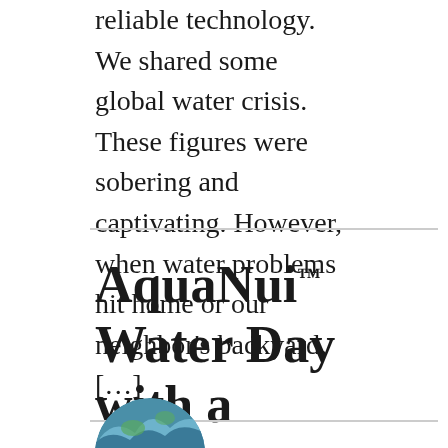reliable technology. We shared some global water crisis. These figures were sobering and captivating. However, when water problems hit home or our neighbor's backyard, […]
AquaNui™ Water Day with a different Sway
[Figure (photo): Partial circular image of water/globe at bottom of page]